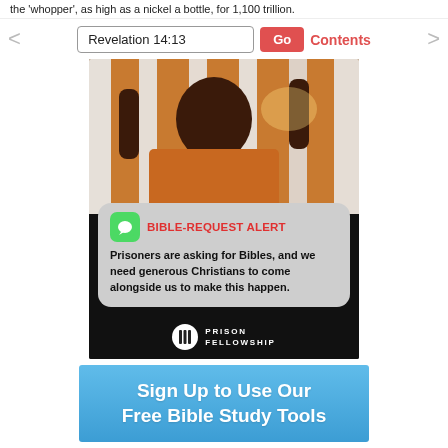the 'whopper', as high as a nickel a bottle, for 1,100 trillion.
Revelation 14:13  Go  Contents
[Figure (photo): A person in an orange prison jumpsuit behind white bars, with a message bubble overlay reading 'BIBLE-REQUEST ALERT: Prisoners are asking for Bibles, and we need generous Christians to come alongside us to make this happen.' and a Prison Fellowship logo at the bottom.]
Sign Up to Use Our Free Bible Study Tools